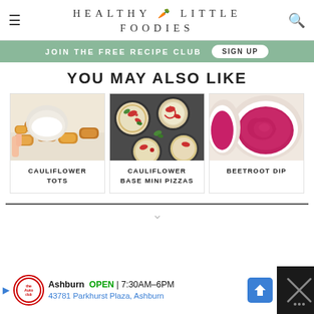HEALTHY LITTLE FOODIES
JOIN THE FREE RECIPE CLUB   SIGN UP
YOU MAY ALSO LIKE
[Figure (photo): Cauliflower tots with dipping sauce on a white plate, hand holding one tot]
CAULIFLOWER TOTS
[Figure (photo): Cauliflower base mini pizzas on a dark tray with tomato sauce and basil]
CAULIFLOWER BASE MINI PIZZAS
[Figure (photo): Beetroot dip in a white bowl, smooth pink-red surface]
BEETROOT DIP
[Figure (screenshot): Advertisement bar: Ashburn OPEN 7:30AM-6PM, 43781 Parkhurst Plaza, Ashburn]